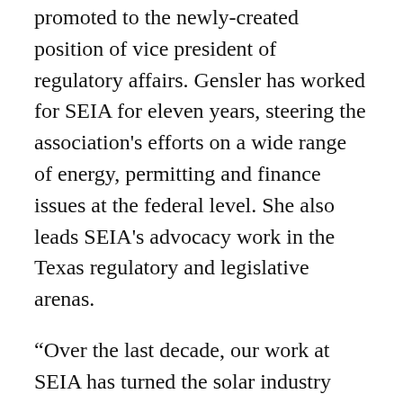promoted to the newly-created position of vice president of regulatory affairs. Gensler has worked for SEIA for eleven years, steering the association's efforts on a wide range of energy, permitting and finance issues at the federal level. She also leads SEIA's advocacy work in the Texas regulatory and legislative arenas.
“Over the last decade, our work at SEIA has turned the solar industry into one of fastest-growing industries in America,” Gensler said. “I am excited to lead SEIA’s efforts as we expand our engagement in key regulatory proceedings in Washington and across the country. This is an important time in solar’s growth and I’m looking forward to driving the industry’s success even further.”